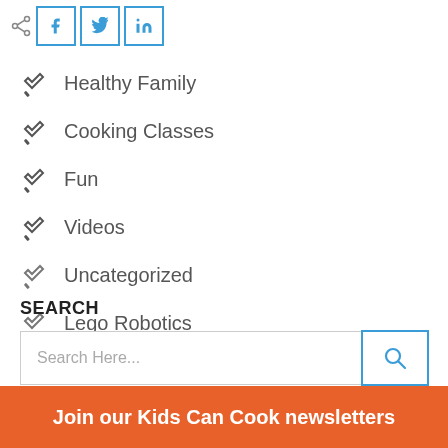[Figure (other): Share icon and social media buttons: Facebook (f), Twitter (bird icon), LinkedIn (in)]
Healthy Family
Cooking Classes
Fun
Videos
Uncategorized
Lego Robotics
SEARCH
Search Here...
Join our Kids Can Cook newsletters